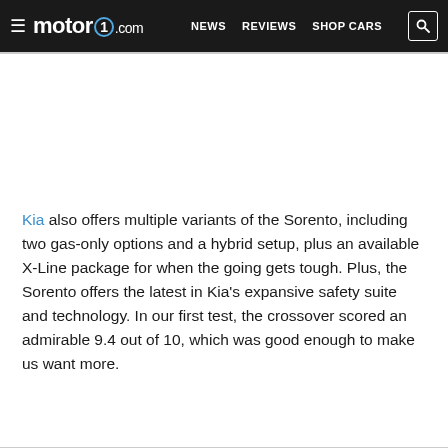motor1.com — NEWS  REVIEWS  SHOP CARS
[Figure (photo): Image placeholder area (photo of Kia Sorento, not visible in this crop)]
Kia also offers multiple variants of the Sorento, including two gas-only options and a hybrid setup, plus an available X-Line package for when the going gets tough. Plus, the Sorento offers the latest in Kia's expansive safety suite and technology. In our first test, the crossover scored an admirable 9.4 out of 10, which was good enough to make us want more.